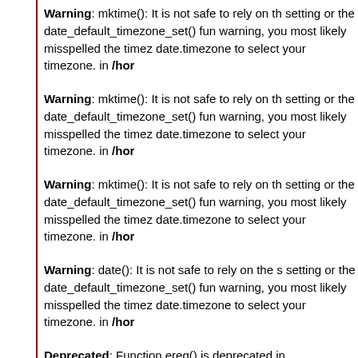Warning: mktime(): It is not safe to rely on the system's timezone settings or the date_default_timezone_set() function. In case you used any of those methods and you are still getting this warning, you most likely misspelled the timezone identifier. We selected 'UTC' for 'date.timezone to select your timezone. in /hor
Warning: mktime(): It is not safe to rely on the system's timezone settings or the date_default_timezone_set() function. In case you used any of those methods and you are still getting this warning, you most likely misspelled the timezone identifier. We selected 'UTC' for 'date.timezone to select your timezone. in /hor
Warning: mktime(): It is not safe to rely on the system's timezone settings or the date_default_timezone_set() function. In case you used any of those methods and you are still getting this warning, you most likely misspelled the timezone identifier. We selected 'UTC' for 'date.timezone to select your timezone. in /hor
Warning: date(): It is not safe to rely on the system's timezone settings or the date_default_timezone_set() function. In case you used any of those methods and you are still getting this warning, you most likely misspelled the timezone identifier. We selected 'UTC' for 'date.timezone to select your timezone. in /hor
Deprecated: Function ereg() is deprecated in
Warning: mktime(): It is not safe to rely on the system's timezone settings or the date_default_timezone_set() function. In case you used any of those methods and you are still getting this warning, you most likely misspelled the timezone identifier. We selected 'UTC' for 'date.timezone to select your timezone. in /hor